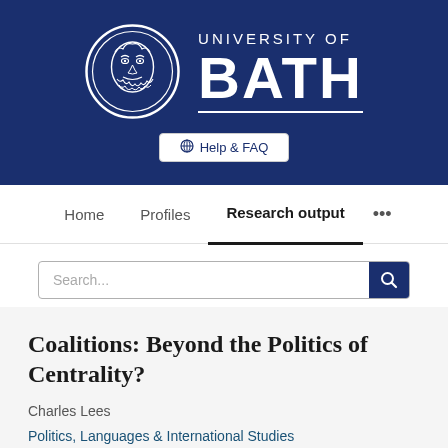[Figure (logo): University of Bath logo: circular crest with face on left, 'UNIVERSITY OF BATH' text with underline on right, on dark navy background]
Help & FAQ
Home   Profiles   Research output   ...
Search...
Coalitions: Beyond the Politics of Centrality?
Charles Lees
Politics, Languages & International Studies